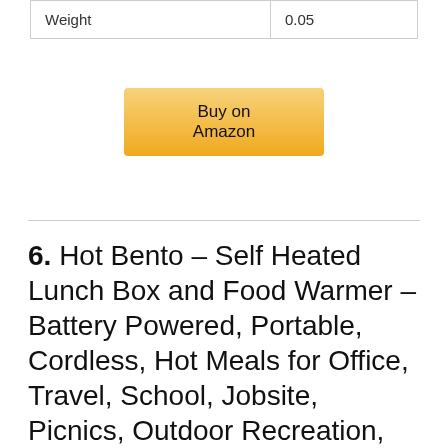| Weight | 0.05 |
[Figure (other): Buy on Amazon button with golden/yellow gradient background]
6. Hot Bento – Self Heated Lunch Box and Food Warmer – Battery Powered, Portable, Cordless, Hot Meals for Office, Travel, School, Jobsite, Picnics, Outdoor Recreation, Kitchen Meal Prep (Powder Blue)